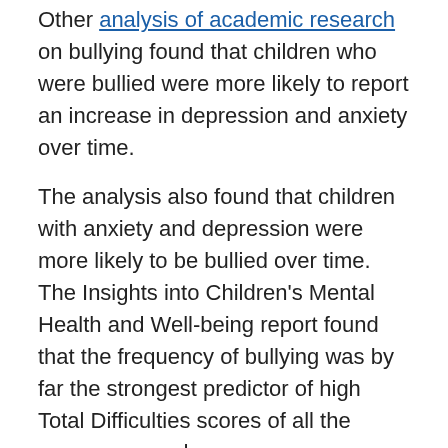Other analysis of academic research on bullying found that children who were bullied were more likely to report an increase in depression and anxiety over time.
The analysis also found that children with anxiety and depression were more likely to be bullied over time. The Insights into Children's Mental Health and Well-being report found that the frequency of bullying was by far the strongest predictor of high Total Difficulties scores of all the measures used.
In 2011 to 2012, around one in eight children reported being bullied more than four times in the preceding six months. Those children had a significantly higher than